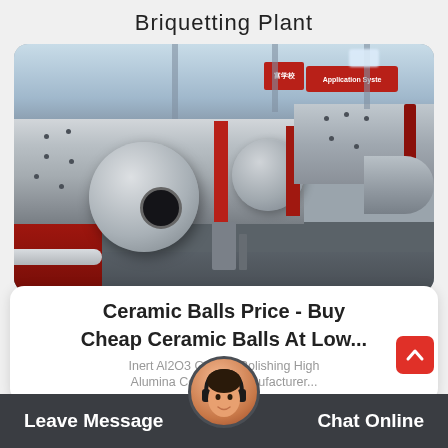Briquetting Plant
[Figure (photo): Industrial ball mills / grinding equipment in a factory setting. Large cylindrical grey machines with red rings, shown on a factory floor with steel structures in the background.]
Ceramic Balls Price - Buy Cheap Ceramic Balls At Low...
Inert Al2O3 Grinding Polishing High Alumina Ceramic Manufacturer...
Leave Message   Chat Online